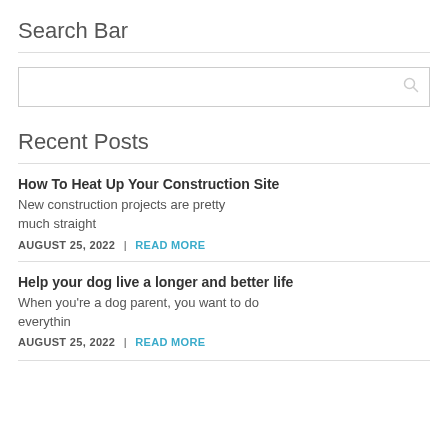Search Bar
[Figure (other): Search input box with magnifying glass icon on right]
Recent Posts
How To Heat Up Your Construction Site
New construction projects are pretty much straight
AUGUST 25, 2022 | READ MORE
Help your dog live a longer and better life
When you're a dog parent, you want to do everythin
AUGUST 25, 2022 | READ MORE